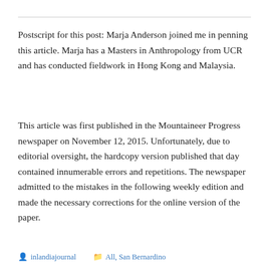Postscript for this post: Marja Anderson joined me in penning this article. Marja has a Masters in Anthropology from UCR and has conducted fieldwork in Hong Kong and Malaysia.
This article was first published in the Mountaineer Progress newspaper on November 12, 2015. Unfortunately, due to editorial oversight, the hardcopy version published that day contained innumerable errors and repetitions. The newspaper admitted to the mistakes in the following weekly edition and made the necessary corrections for the online version of the paper.
inlandiajournal  All, San Bernardino